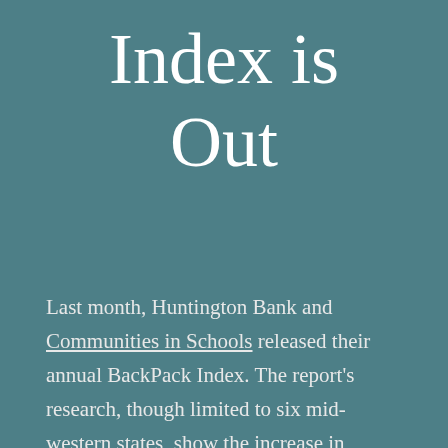Index is Out
Last month, Huntington Bank and Communities in Schools released their annual BackPack Index. The report's research, though limited to six mid-western states, show the increase in supplies and after-school activity costs and fees. The report, neatly summarized by